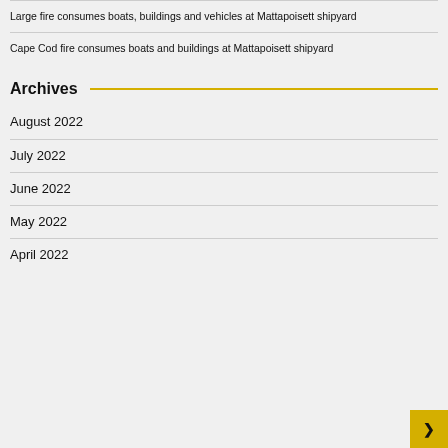Large fire consumes boats, buildings and vehicles at Mattapoisett shipyard
Cape Cod fire consumes boats and buildings at Mattapoisett shipyard
Archives
August 2022
July 2022
June 2022
May 2022
April 2022